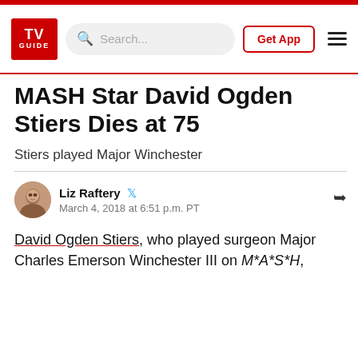TV Guide — navigation bar with search and Get App button
MASH Star David Ogden Stiers Dies at 75
Stiers played Major Winchester
Liz Raftery — March 4, 2018 at 6:51 p.m. PT
David Ogden Stiers, who played surgeon Major Charles Emerson Winchester III on M*A*S*H,